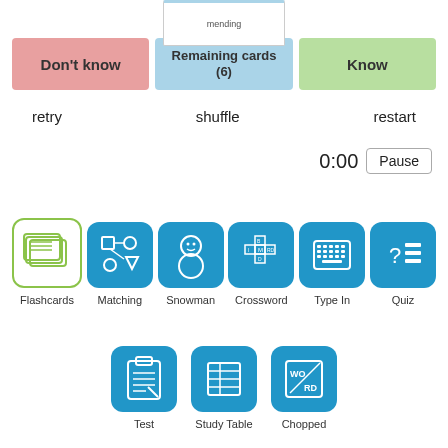mending
Don't know
Remaining cards (6)
Know
retry
shuffle
restart
0:00
Pause
Flashcards
Matching
Snowman
Crossword
Type In
Quiz
Test
Study Table
Chopped